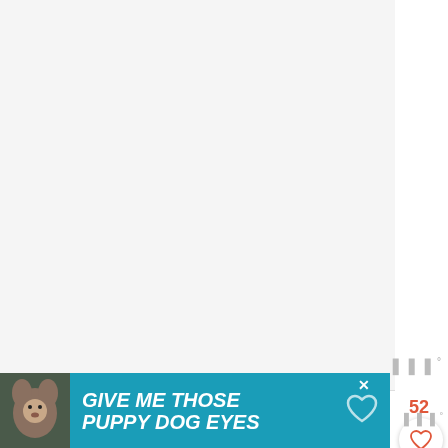[Figure (photo): Top portion of a recipe page with a light gray background image area (food photo cropped out)]
FIVE, ADD IN THE CHOCOLATE CHIPS AND LIGHTLY FOLD IN ONE LAST TIME.
[Figure (infographic): Advertisement banner with dark teal background showing a dog photo and text: GIVE ME THOSE PUPPY DOG EYES]
52
[Figure (other): UI sidebar buttons: heart/like button (52 likes), orange search button, blue save button, share button, and Mediavine watermark icons]